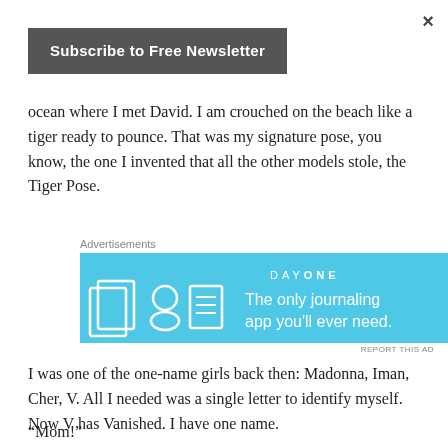×
[Figure (other): Subscribe to Free Newsletter button - dark grey rounded rectangle button]
ocean where I met David. I am crouched on the beach like a tiger ready to pounce. That was my signature pose, you know, the one I invented that all the other models stole, the Tiger Pose.
Advertisements
[Figure (screenshot): Day One app advertisement banner - blue background with app icons and text 'The only journaling app you'll ever need.']
REPORT THIS AD
I was one of the one-name girls back then: Madonna, Iman, Cher, V. All I needed was a single letter to identify myself. Now V has Vanished. I have one name.
“Mom!”